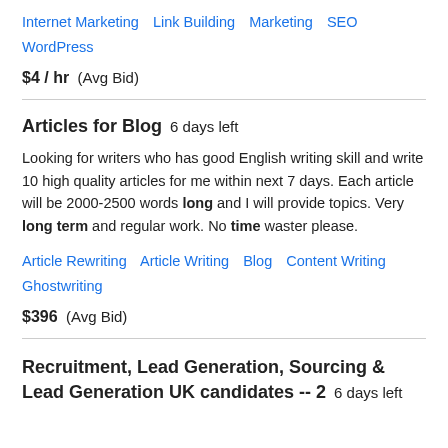Internet Marketing   Link Building   Marketing   SEO   WordPress
$4 / hr  (Avg Bid)
Articles for Blog  6 days left
Looking for writers who has good English writing skill and write 10 high quality articles for me within next 7 days. Each article will be 2000-2500 words long and I will provide topics. Very long term and regular work. No time waster please.
Article Rewriting   Article Writing   Blog   Content Writing   Ghostwriting
$396  (Avg Bid)
Recruitment, Lead Generation, Sourcing & Lead Generation UK candidates -- 2  6 days left